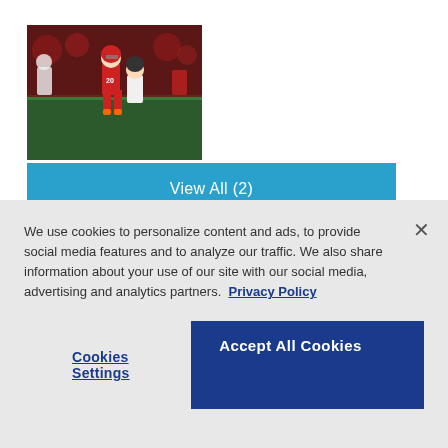[Figure (photo): Football players on field, player #20 in red Stanford uniform running with the ball, defender in white/black uniform attempting tackle, nighttime game setting]
View All (2)
PASADENA, Calif. (AP) — Stanford's Bryce Love was considered a Heisman Trophy contender and
We use cookies to personalize content and ads, to provide social media features and to analyze our traffic. We also share information about your use of our site with our social media, advertising and analytics partners.  Privacy Policy
Cookies Settings
Accept All Cookies